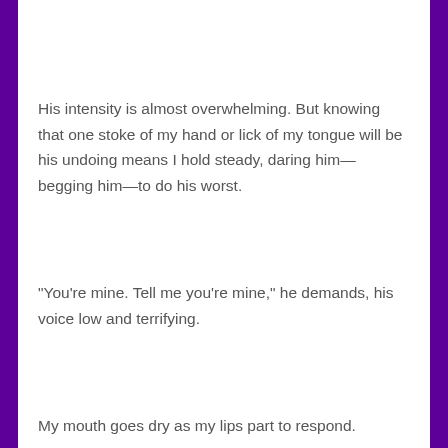His intensity is almost overwhelming. But knowing that one stoke of my hand or lick of my tongue will be his undoing means I hold steady, daring him—begging him—to do his worst.
“You’re mine. Tell me you’re mine,” he demands, his voice low and terrifying.
My mouth goes dry as my lips part to respond.